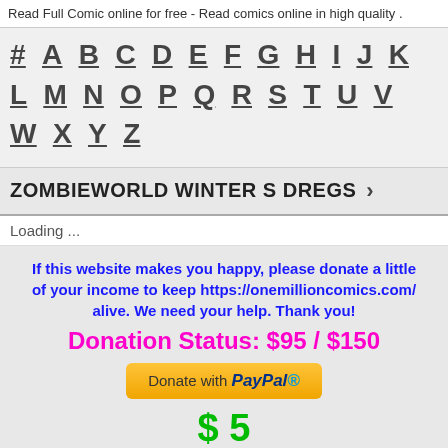Read Full Comic online for free - Read comics online in high quality .
# A B C D E F G H I J K L M N O P Q R S T U V W X Y Z
ZOMBIEWORLD WINTER S DREGS >
Loading ...
If this website makes you happy, please donate a little of your income to keep https://onemillioncomics.com/ alive. We need your help. Thank you!
Donation Status: $95 / $150
[Figure (other): PayPal donate button with orange background]
$ 5